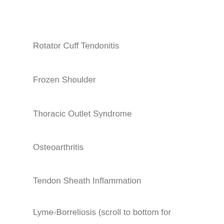Rotator Cuff Tendonitis
Frozen Shoulder
Thoracic Outlet Syndrome
Osteoarthritis
Tendon Sheath Inflammation
Lyme-Borreliosis (scroll to bottom for research paper)
As an orthopedic nurse (I took care of patients who had shoulder surgery),